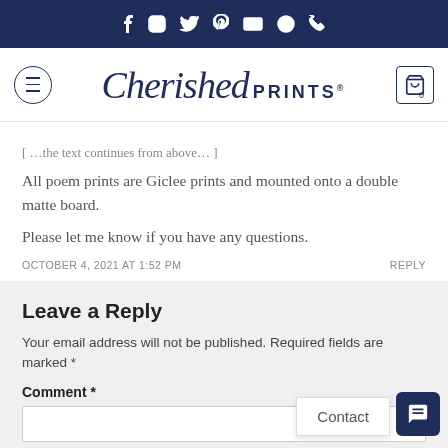Cherished PRINTS - social icons header
[Figure (logo): Cherished Prints logo with script and sans-serif text]
All poem prints are Giclee prints and mounted onto a double matte board.
Please let me know if you have any questions.
OCTOBER 4, 2021 AT 1:52 PM    REPLY
Leave a Reply
Your email address will not be published. Required fields are marked *
Comment *